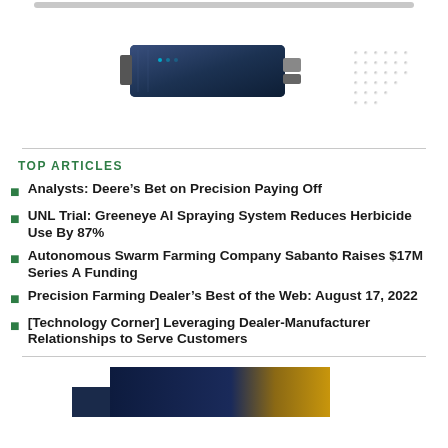[Figure (photo): A blue electronic device/module shown against white background with a decorative dot pattern to the right]
TOP ARTICLES
Analysts: Deere’s Bet on Precision Paying Off
UNL Trial: Greeneye AI Spraying System Reduces Herbicide Use By 87%
Autonomous Swarm Farming Company Sabanto Raises $17M Series A Funding
Precision Farming Dealer’s Best of the Web: August 17, 2022
[Technology Corner] Leveraging Dealer-Manufacturer Relationships to Serve Customers
[Figure (photo): Partial view of a dark blue and gold/yellow colored image at the bottom of the page]